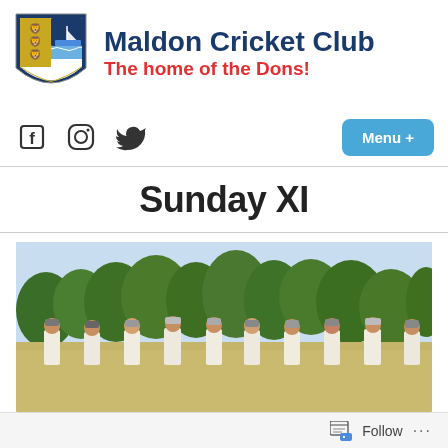[Figure (logo): Maldon Cricket Club shield/crest logo with three lions and a sailboat on blue and gold background]
Maldon Cricket Club
The home of the Dons!
[Figure (other): Facebook, Instagram and Twitter social media icons; Menu + button in blue]
Sunday XI
[Figure (photo): Cricket players in white uniforms standing in a line on a cricket ground with trees in the background]
Follow ...